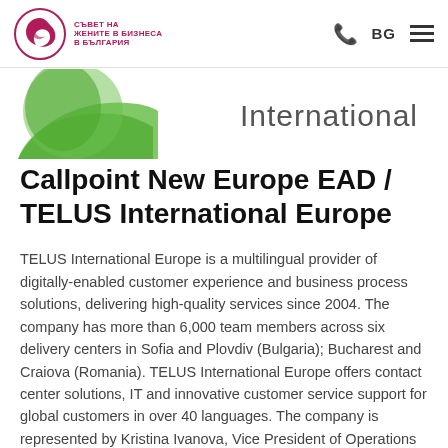СЪВЕТ НА ЖЕНИТЕ В БИЗНЕСА В БЪЛГАРИЯ | BG
[Figure (logo): TELUS International Europe partial green logo swoosh]
Callpoint New Europe EAD / TELUS International Europe
TELUS International Europe is a multilingual provider of digitally-enabled customer experience and business process solutions, delivering high-quality services since 2004. The company has more than 6,000 team members across six delivery centers in Sofia and Plovdiv (Bulgaria); Bucharest and Craiova (Romania). TELUS International Europe offers contact center solutions, IT and innovative customer service support for global customers in over 40 languages. The company is represented by Kristina Ivanova, Vice President of Operations